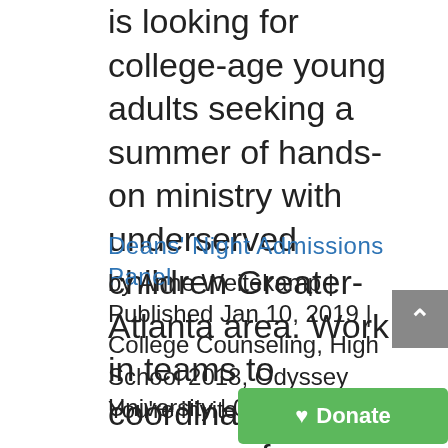is looking for college-age young adults seeking a summer of hands-on ministry with underserved children Greater-Atlanta area. Work in teams to coordinate programs for children and youth in...
Deans' Night Admissions Panel
by Anne Weitekamp | Published Jan 10, 2019 | College Counseling, High School 2018, Odyssey University | 0 Comments
You're invited to join us for the Deans' Night Panel located at the